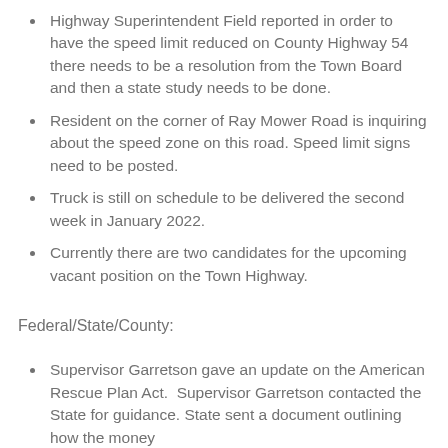Highway Superintendent Field reported in order to have the speed limit reduced on County Highway 54 there needs to be a resolution from the Town Board and then a state study needs to be done.
Resident on the corner of Ray Mower Road is inquiring about the speed zone on this road. Speed limit signs need to be posted.
Truck is still on schedule to be delivered the second week in January 2022.
Currently there are two candidates for the upcoming vacant position on the Town Highway.
Federal/State/County:
Supervisor Garretson gave an update on the American Rescue Plan Act. Supervisor Garretson contacted the State for guidance. State sent a document outlining how the money